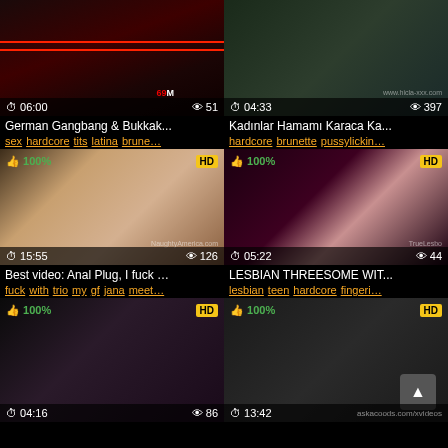[Figure (screenshot): Video thumbnail grid - adult video website showing 6 video thumbnails in 2x3 grid layout with titles, tags, duration and view counts]
German Gangbang & Bukkak... | 06:00 | 51 views
sex hardcore tits latina brune...
Kadınlar Hamamı Karaca Ka... | 04:33 | 397 views
hardcore brunette pussylickin...
Best video: Anal Plug, I fuck ... | 15:55 | 126 views | 100%
fuck with trio my gf jana meet...
LESBIAN THREESOME WIT... | 05:22 | 44 views | 100%
lesbian teen hardcore fingeri...
04:16 | 86 views | 100%
13:42 | askacoods.com/xvideos | 100%